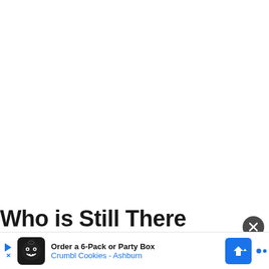Who is Still There
[Figure (screenshot): Advertisement banner at bottom of page: 'Order a 6-Pack or Party Box - Crumbl Cookies - Ashburn' with cookie mascot icon and blue direction sign logo. A dark close button circle is overlaid at top-right of the ad area.]